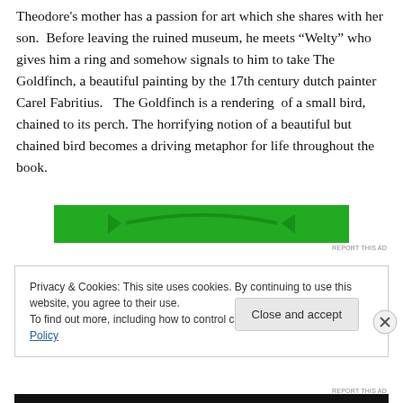Theodore's mother has a passion for art which she shares with her son.  Before leaving the ruined museum, he meets “Welty” who gives him a ring and somehow signals to him to take The Goldfinch, a beautiful painting by the 17th century dutch painter Carel Fabritius.   The Goldfinch is a rendering  of a small bird, chained to its perch. The horrifying notion of a beautiful but chained bird becomes a driving metaphor for life throughout the book.
[Figure (other): Green banner advertisement graphic]
Privacy & Cookies: This site uses cookies. By continuing to use this website, you agree to their use.
To find out more, including how to control cookies, see here: Cookie Policy